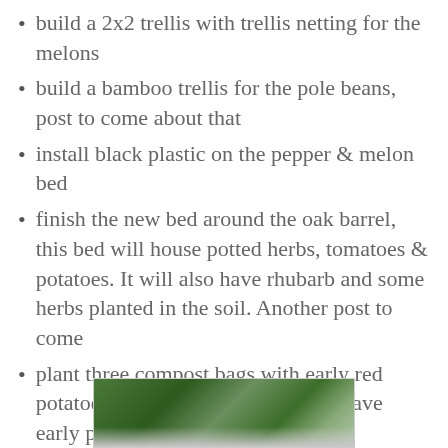build a 2x2 trellis with trellis netting for the melons
build a bamboo trellis for the pole beans, post to come about that
install black plastic on the pepper & melon bed
finish the new bed around the oak barrel, this bed will house potted herbs, tomatoes & potatoes. It will also have rhubarb and some herbs planted in the soil. Another post to come
plant three compost bags with early red potatoes, a bit of an experiment to have early potatoes
clean and move the cold frame into the basement
install the hose reel & post
finish planting all the annuals in the urns & pots
weed, weed & weed some more
cut the lawn
yikes!
[Figure (photo): Garden photo showing green plants and foliage]